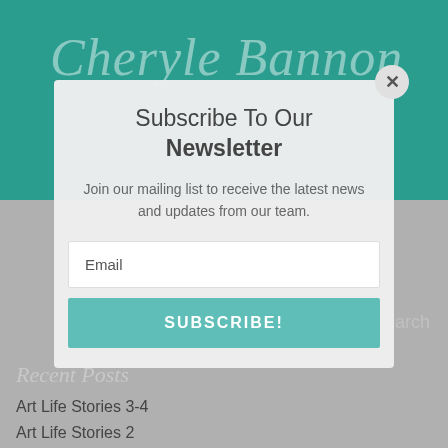Cheryle Bannon
Subscribe To Our Newsletter
Join our mailing list to receive the latest news and updates from our team.
Email
SUBSCRIBE!
Search
Recent Posts
Art Life Stories 3-4
Art Life Stories 2